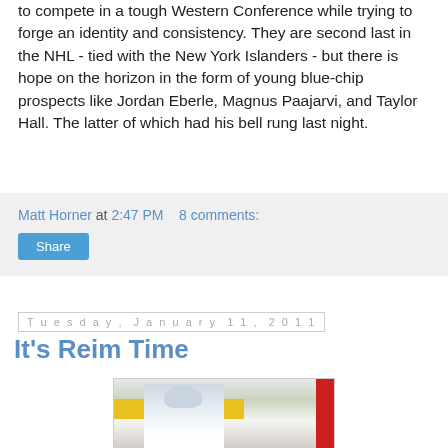to compete in a tough Western Conference while trying to forge an identity and consistency. They are second last in the NHL - tied with the New York Islanders - but there is hope on the horizon in the form of young blue-chip prospects like Jordan Eberle, Magnus Paajarvi, and Taylor Hall. The latter of which had his bell rung last night.
Matt Horner at 2:47 PM   8 comments:
Share
Tuesday, January 11, 2011
It's Reim Time
[Figure (photo): A hockey goalie in white Toronto Maple Leafs equipment making a save in front of a red goalpost, with a yellow board in the background.]